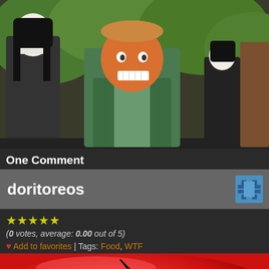[Figure (illustration): Comic-style illustration showing cartoon characters: a pale woman in black on the left, a large orange-faced grinning man in a green suit and tie in the center, a pale dark-haired girl, and a figure in brown on the right, against a green leafy background.]
One Comment
doritoreos
★★★★★ (0 votes, average: 0.00 out of 5)
❤ Add to favorites | Tags: Food, WTF
[Figure (photo): Photo of a red Doritos chip bag redesigned/labeled as 'Doritoreos' with the Doritos logo style but spelling out Doritoreos.]